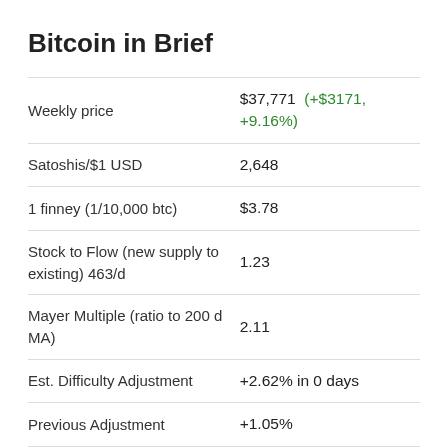Bitcoin in Brief
|  |  |
| --- | --- |
| Weekly price | $37,771  (+$3171, +9.16%) |
| Satoshis/$1 USD | 2,648 |
| 1 finney (1/10,000 btc) | $3.78 |
| Stock to Flow (new supply to existing) 463/d | 1.23 |
| Mayer Multiple (ratio to 200 d MA) | 2.11 |
| Est. Difficulty Adjustment | +2.62% in 0 days |
| Previous Adjustment | +1.05% |
This week's Bitcoin & Markets